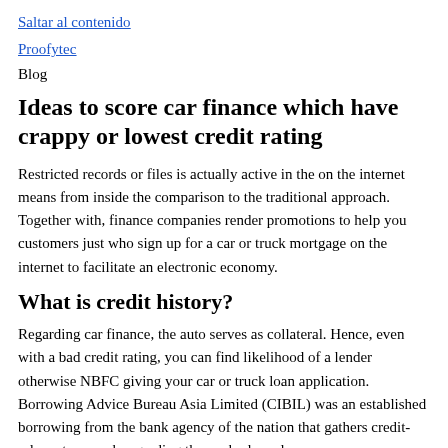Saltar al contenido
Proofytec
Blog
Ideas to score car finance which have crappy or lowest credit rating
Restricted records or files is actually active in the on the internet means from inside the comparison to the traditional approach. Together with, finance companies render promotions to help you customers just who sign up for a car or truck mortgage on the internet to facilitate an electronic economy.
What is credit history?
Regarding car finance, the auto serves as collateral. Hence, even with a bad credit rating, you can find likelihood of a lender otherwise NBFC giving your car or truck loan application. Borrowing Advice Bureau Asia Limited (CIBIL) was an established borrowing from the bank agency of the nation that gathers credit-relevant research regarding the anybody and